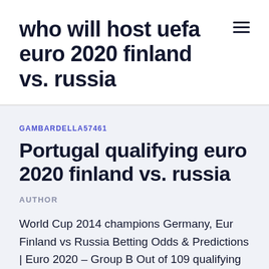who will host uefa euro 2020 finland vs. russia
GAMBARDELLA57461
Portugal qualifying euro 2020 finland vs. russia
AUTHOR
World Cup 2014 champions Germany, Eur Finland vs Russia Betting Odds & Predictions | Euro 2020 – Group B Out of 109 qualifying matches, Finland scored 116 goals, averaging 1.06 goals per fixture. 23rd June, 8 pm